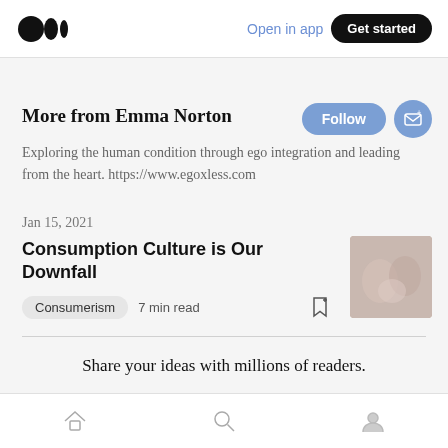Open in app  Get started
More from Emma Norton
Exploring the human condition through ego integration and leading from the heart. https://www.egoxless.com
Jan 15, 2021
Consumption Culture is Our Downfall
Consumerism  7 min read
[Figure (photo): Thumbnail image showing hands/feet intertwined]
Share your ideas with millions of readers.
Home  Search  Profile